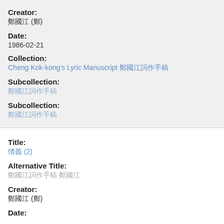Creator:
鄭國江 (鄭)
Date:
1986-02-21
Collection:
Cheng Kok-kong's Lyric Manuscript 鄭國江詞作手稿
Subcollection:
鄭國江詞作手稿
Subcollection:
鄭國江詞作手稿
Title:
情義 (2)
Alternative Title:
鄭國江詞作手稿 鄭國江
Creator:
鄭國江 (鄭)
Date: